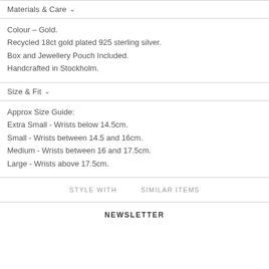Materials & Care
Colour – Gold.
Recycled 18ct gold plated 925 sterling silver.
Box and Jewellery Pouch Included.
Handcrafted in Stockholm.
Size & Fit
Approx Size Guide:
Extra Small - Wrists below 14.5cm.
Small - Wrists between 14.5 and 16cm.
Medium - Wrists between 16 and 17.5cm.
Large - Wrists above 17.5cm.
STYLE WITH    SIMILAR ITEMS
NEWSLETTER